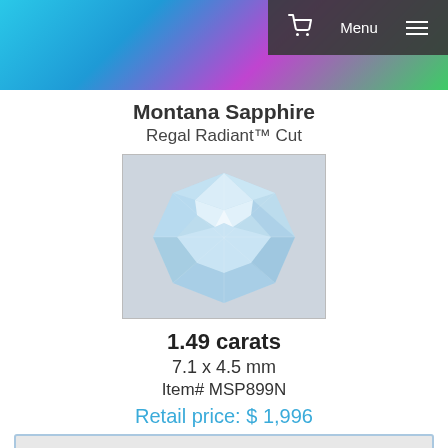Montana Sapphire - Navigation header with cart and menu
Montana Sapphire
Regal Radiant™ Cut
[Figure (photo): A faceted light blue Montana Sapphire gemstone, Regal Radiant cut, photographed on a light gray background]
1.49 carats
7.1 x 4.5 mm
Item# MSP899N
Retail price: $ 1,996
Add to Cart
Rough Montana Sapphire